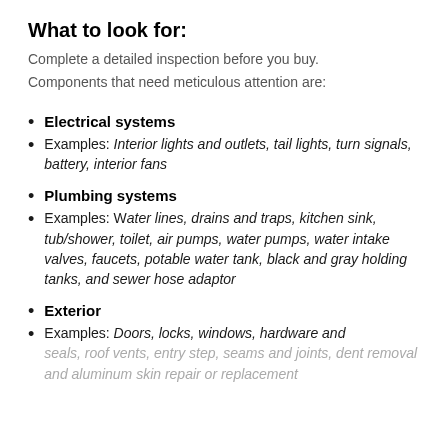What to look for:
Complete a detailed inspection before you buy.
Components that need meticulous attention are:
Electrical systems
Examples: Interior lights and outlets, tail lights, turn signals, battery, interior fans
Plumbing systems
Examples: Water lines, drains and traps, kitchen sink, tub/shower, toilet, air pumps, water pumps, water intake valves, faucets, potable water tank, black and gray holding tanks, and sewer hose adaptor
Exterior
Examples: Doors, locks, windows, hardware and seals, roof vents, entry step, seams and joints, dent removal and aluminum skin repair or replacement